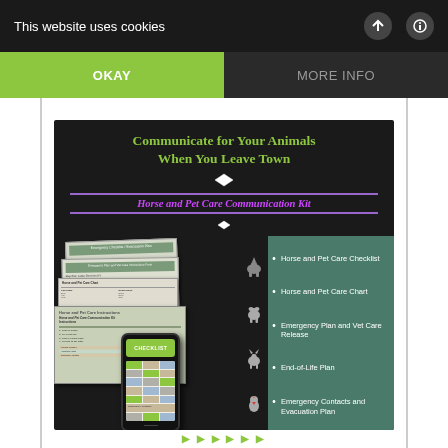This website uses cookies
OKAY
MORE INFO
[Figure (infographic): Horse and Pet Care Communication Kit promotional image with title 'Communicate for Your Animals When You Leave Town', subtitle 'Horse and Pet Care Communication Kit', showing stacked documents, a phone with checklist, animal icons (horse, dog, cat, chicken), and bullet list: Horse and Pet Care Checklist, Horse and Pet Care Chart, Emergency Plan and Vet Care Release, End-of-Life Plan, Emergency Contacts and Evacuation Plan]